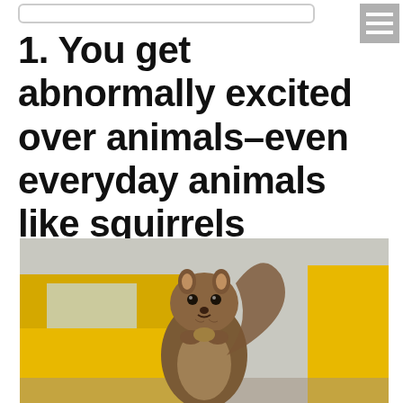1. You get abnormally excited over animals–even everyday animals like squirrels
[Figure (photo): A squirrel standing upright holding food in its paws, photographed in front of a yellow taxi cab with a blurred urban background]